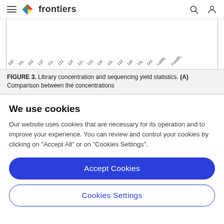frontiers
[Figure (other): Partial view of a chart showing rotated axis labels: 10F, 10L, 10Z, 11F, 11L, 11Z, 12F, 12L, 12Z, 13F, 13L, 13Z, 14F, 14L, 14Z, LabBL, FieldBL]
FIGURE 3. Library concentration and sequencing yield statistics. (A) Comparison between the concentrations
We use cookies
Our website uses cookies that are necessary for its operation and to improve your experience. You can review and control your cookies by clicking on "Accept All" or on "Cookies Settings".
Accept Cookies
Cookies Settings